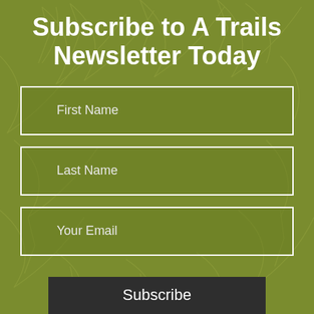Subscribe to A Trails Newsletter Today
First Name
Last Name
Your Email
Subscribe